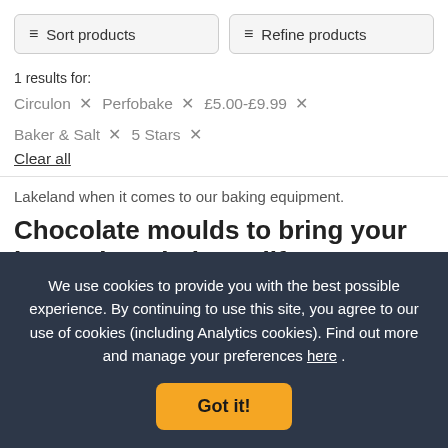Sort products
Refine products
1 results for:
Circulon × Perfobake × £5.00–£9.99 × Baker & Salt × 5 Stars ×
Clear all
Lakeland when it comes to our baking equipment.
Chocolate moulds to bring your inner chocolatier to life
We use cookies to provide you with the best possible experience. By continuing to use this site, you agree to our use of cookies (including Analytics cookies). Find out more and manage your preferences here .
Got it!